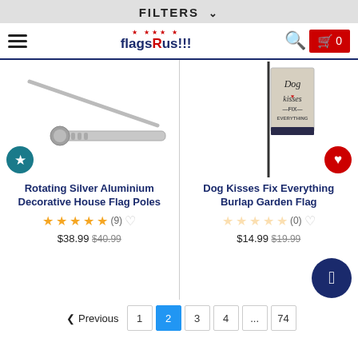FILTERS ∨
[Figure (screenshot): FlagsRus!!! navigation bar with hamburger menu, logo, search icon, and red cart button showing 0 items]
[Figure (photo): Rotating Silver Aluminium Decorative House Flag Poles product image]
[Figure (photo): Dog Kisses Fix Everything Burlap Garden Flag product image]
Rotating Silver Aluminium Decorative House Flag Poles
Dog Kisses Fix Everything Burlap Garden Flag
★★★★★ (9) ♡  $38.99  $40.99
☆☆☆☆☆ (0) ♡  $14.99  $19.99
< Previous  1  2  3  4  ...  74